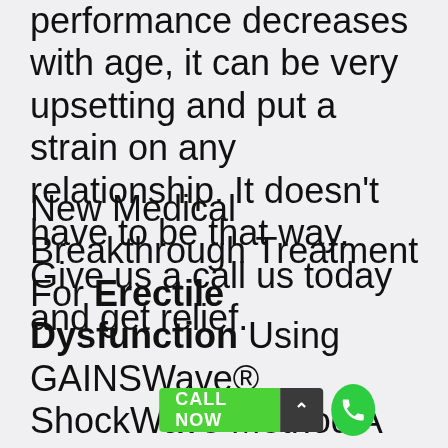performance decreases with age, it can be very upsetting and put a strain on any relationship. It doesn't have to be that way. Give us a call us today and get relief.
New Medical Breakthrough Treatment For Erectile Dysfunction Using GAINSWave® ShockWave Method A BREAKTHROUGH SOLUTION FOR MEN SEEKING BETTER ERECTIONS & OR PERFORMANCE